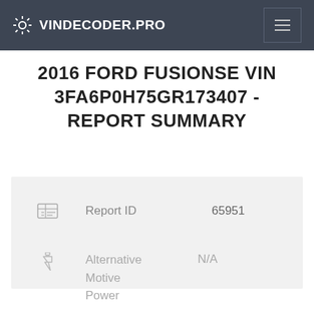VINDECODER.PRO
2016 FORD FUSIONSE VIN 3FA6P0H75GR173407 - REPORT SUMMARY
| Icon | Field | Value |
| --- | --- | --- |
| [id card icon] | Report ID | 65951 |
Alternative Motive Power: N/A